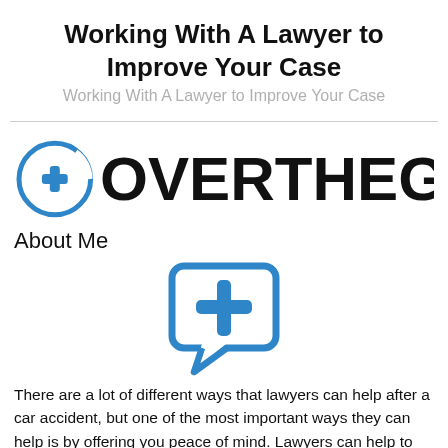Working With A Lawyer to Improve Your Case
Working With A Lawyer to Improve Your Case
[Figure (logo): OVERTHEGW logo with circular medical cross icon on the left and bold text OVERTHEGW on the right]
About Me
[Figure (illustration): Blue rounded speech bubble icon containing a medical plus/cross symbol]
There are a lot of different ways that lawyers can help after a car accident, but one of the most important ways they can help is by offering you peace of mind. Lawyers can help to